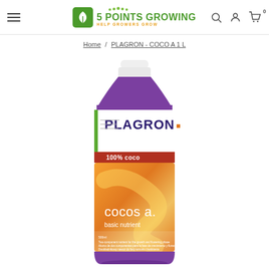5 Points Growing - Help Growers Grow
Home / PLAGRON - COCO A 1 L
[Figure (photo): Plagron Cocos A 1L bottle - purple cap and label, orange/gradient body label reading: PLAGRON, 100% coco, cocos a., basic nutrient]